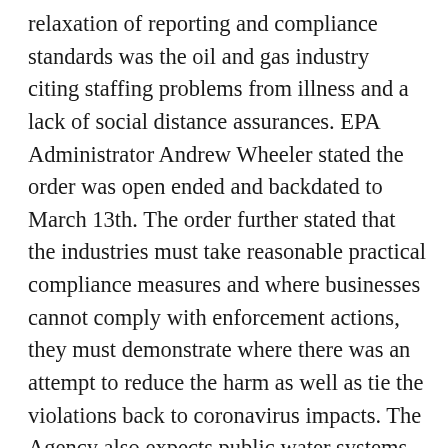relaxation of reporting and compliance standards was the oil and gas industry citing staffing problems from illness and a lack of social distance assurances. EPA Administrator Andrew Wheeler stated the order was open ended and backdated to March 13th. The order further stated that the industries must take reasonable practical compliance measures and where businesses cannot comply with enforcement actions, they must demonstrate where there was an attempt to reduce the harm as well as tie the violations back to coronavirus impacts. The Agency also expects public water systems not to relax any water standards so as to ensure that public water supply remains at potable standards for consumption. EPA further stated that superfund and other hazardous and solid waste management reporting requirements are not exempt since